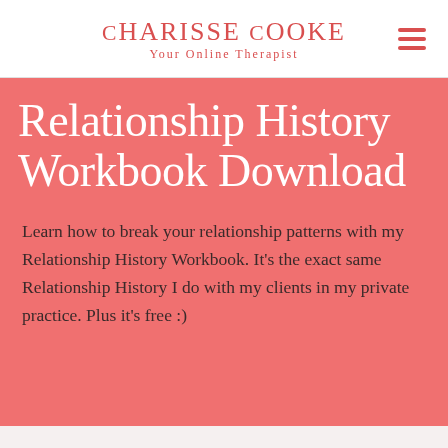Charisse Cooke Your Online Therapist
Relationship History Workbook Download
Learn how to break your relationship patterns with my Relationship History Workbook. It's the exact same Relationship History I do with my clients in my private practice. Plus it's free :)